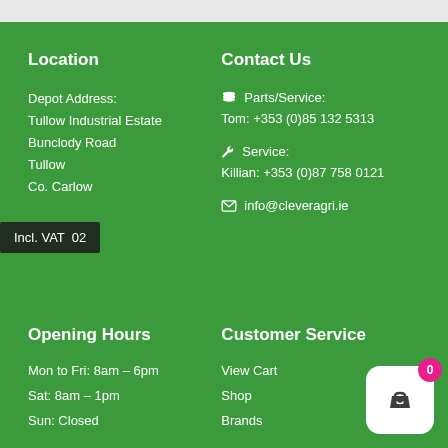Location
Depot Address:
Tullow Industrial Estate
Bunclody Road
Tullow
Co. Carlow
Contact Us
Parts/Service:
Tom: +353 (0)85 132 5313
Service:
Killian: +353 (0)87 758 0121
info@cleveragri.ie
Incl. VAT  02
Opening Hours
Mon to Fri: 8am – 6pm
Sat: 8am – 1pm
Sun: Closed
Customer Service
View Cart
Shop
Brands